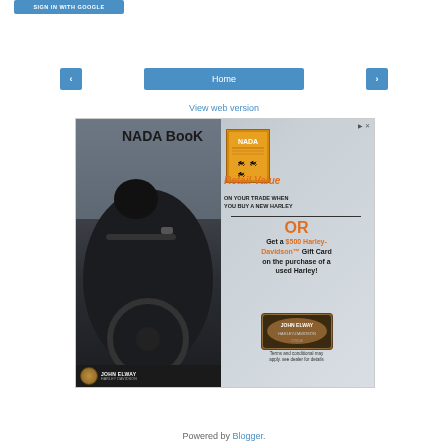[Figure (screenshot): Sign in with Google button (blue rounded rectangle)]
[Figure (screenshot): Navigation bar with left arrow, Home button, and right arrow, all in blue]
View web version
[Figure (infographic): Advertisement for John Elway Harley-Davidson featuring NADA Book Retail Value offer and $500 Gift Card on purchase of a used Harley, with a motorcycle rider image on the left side]
Powered by Blogger.